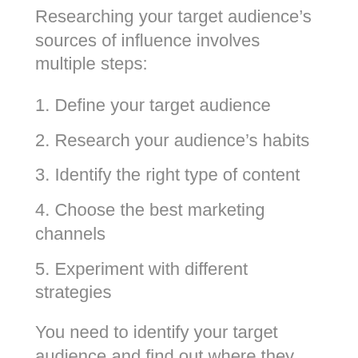Researching your target audience's sources of influence involves multiple steps:
1. Define your target audience
2. Research your audience's habits
3. Identify the right type of content
4. Choose the best marketing channels
5. Experiment with different strategies
You need to identify your target audience and find out where they spend their time. Your research will help you determine what type of content and channels to use for your marketing campaign. Here's a closer look at